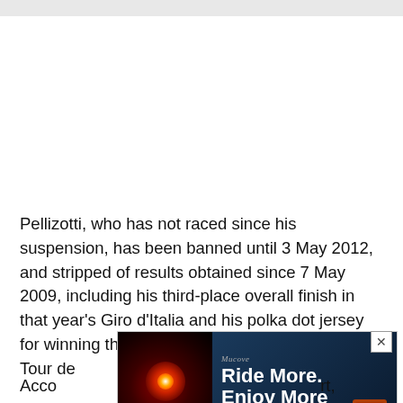[Figure (other): Top grey bar representing browser/app chrome]
Pellizotti, who has not raced since his suspension, has been banned until 3 May 2012, and stripped of results obtained since 7 May 2009, including his third-place overall finish in that year's Giro d'Italia and his polka dot jersey for winning the mountains classification in the Tour de France two m[ore...]
[Figure (screenshot): Advertisement overlay: Mucove brand cycling light ad showing 'Ride More. Enjoy More' with red cycling light on dark background and close button (X)]
Acco[rding to report], the d[...]